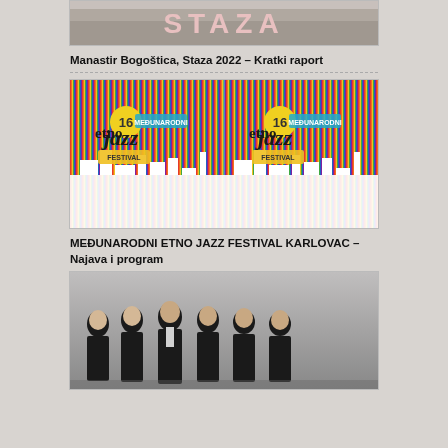[Figure (photo): Partial top image showing letters STAZA on a banner with people in background, cropped at top]
Manastir Bogoštica, Staza 2022 – Kratki raport
[Figure (photo): Festival poster for 16th Međunarodni Etno Jazz Festival, two mirrored poster images side by side with colorful vertical stripes and white cityscape silhouette]
MEĐUNARODNI ETNO JAZZ FESTIVAL KARLOVAC – Najava i program
[Figure (photo): Group of six men in dark suits standing together, promotional photo]